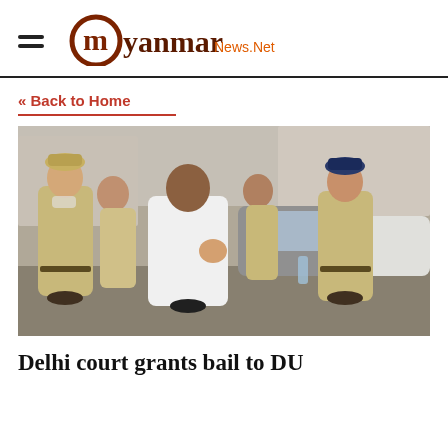myanmar News.Net
« Back to Home
[Figure (photo): A man in a white t-shirt being escorted by multiple police officers in khaki uniforms outdoors near vehicles.]
Delhi court grants bail to DU